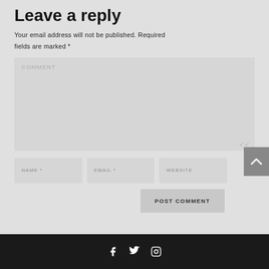Leave a reply
Your email address will not be published. Required fields are marked *
[Figure (screenshot): Comment text area input field with placeholder text COMMENT and resize handle]
[Figure (screenshot): Three input fields in a row: NAME *, EMAIL *, WEBSITE]
[Figure (screenshot): POST COMMENT button aligned to the right]
Social media icons: Facebook, Twitter, Instagram